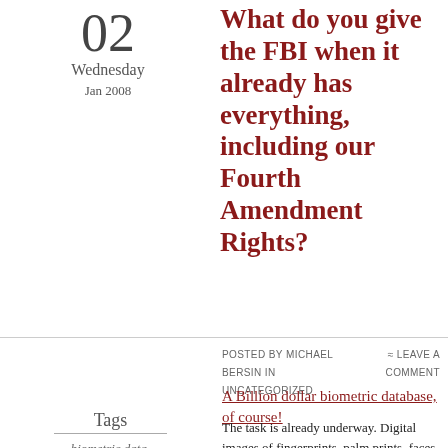02
Wednesday
Jan 2008
What do you give the FBI when it already has everything, including our Fourth Amendment Rights?
Posted by Michael Bersin in Uncategorized
≈ Leave a comment
A Billion dollar biometric database, of course!
Tags
biometric data,
Domestic Spying
The task is already underway. Digital images of fingerprints, palm prints, faces and physical characteristics are already being integrated into the FBI's IT system, and the database is being assembled in a secure, climate-controlled two-acre basement in Clarksburg, VA.
This month, the FBI will award a ten-year contract that